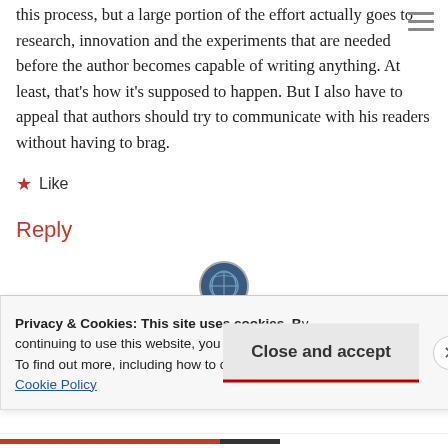this process, but a large portion of the effort actually goes to research, innovation and the experiments that are needed before the author becomes capable of writing anything. At least, that's how it's supposed to happen. But I also have to appeal that authors should try to communicate with his readers without having to brag.
★ Like
Reply
[Figure (photo): Circular avatar image with a globe/world illustration, partially visible at the bottom of the page]
Privacy & Cookies: This site uses cookies. By continuing to use this website, you agree to their use. To find out more, including how to control cookies, see here: Cookie Policy